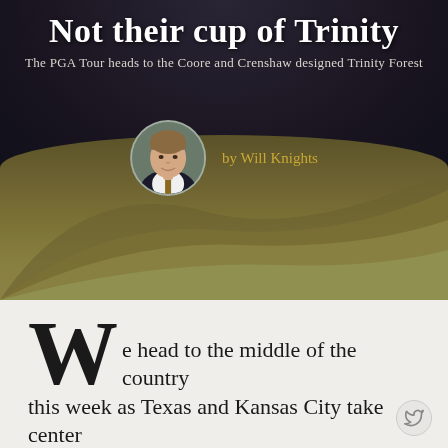Not their cup of Trinity
The PGA Tour heads to the Coore and Crenshaw designed Trinity Forest
[Figure (photo): Author headshot of Will Knights, circular cropped portrait photo]
by Will Knights
[Figure (photo): Wide landscape photo of a golf course fairway with rolling grassy mounds under a dark moody sky]
We head to the middle of the country this week as Texas and Kansas City take center